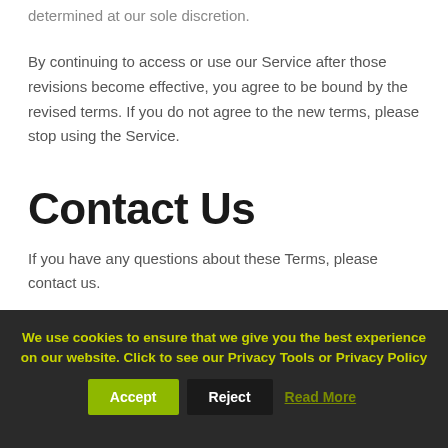determined at our sole discretion.
By continuing to access or use our Service after those revisions become effective, you agree to be bound by the revised terms. If you do not agree to the new terms, please stop using the Service.
Contact Us
If you have any questions about these Terms, please contact us.
We use cookies to ensure that we give you the best experience on our website. Click to see our Privacy Tools or Privacy Policy